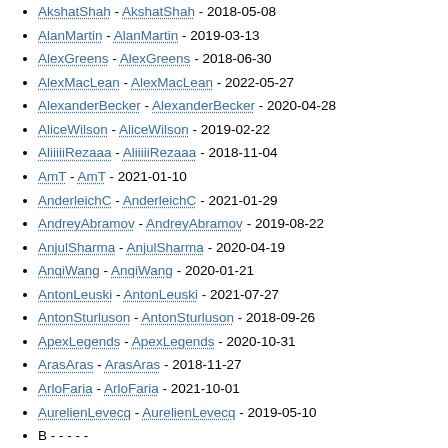AkshatShah - AkshatShah - 2018-05-08
AlanMartin - AlanMartin - 2019-03-13
AlexGreens - AlexGreens - 2018-06-30
AlexMacLean - AlexMacLean - 2022-05-27
AlexanderBecker - AlexanderBecker - 2020-04-28
AliceWilson - AliceWilson - 2019-02-22
AliiiiiRezaaa - AliiiiiRezaaa - 2018-11-04
AmT - AmT - 2021-01-10
AnderleichC - AnderleichC - 2021-01-29
AndreyAbramov - AndreyAbramov - 2019-08-22
AnjulSharma - AnjulSharma - 2020-04-19
AnqiWang - AnqiWang - 2020-01-21
AntonLeuski - AntonLeuski - 2021-07-27
AntonSturluson - AntonSturluson - 2018-09-26
ApexLegends - ApexLegends - 2020-10-31
ArasAras - ArasAras - 2018-11-27
ArloFaria - ArloFaria - 2021-10-01
AurelienLevecq - AurelienLevecq - 2019-05-10
B - - - - -
BangunCitraTeknisi - BangunCitraTeknisi - 2018-11-14
BartDHoore - BartDHoore - 2022-08-04
BellaPeins - BellaPeins - 2019-12-07